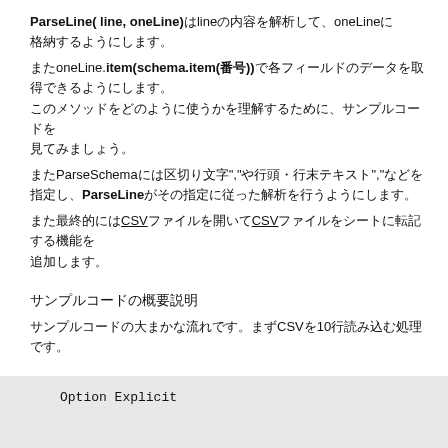ParseLine( line, oneLine)はlineの内容を解析して、oneLineに格納する
またoneLine.item(schema.item(番号))で各フィールドのデータを取得できるようにします。
またParseSchemaには区切り文字","や行頭・行末テキスト","などを指定し、ParseLineがその指定に従った解析を行います。
また最終的にはCSVファイルを開いてCSVファイルをシートに転記する機能を
サンプルコードの概要説明
サンプルコードの大まかな流れです。まずCSVを10行読み込む処理です。
Option Explicit